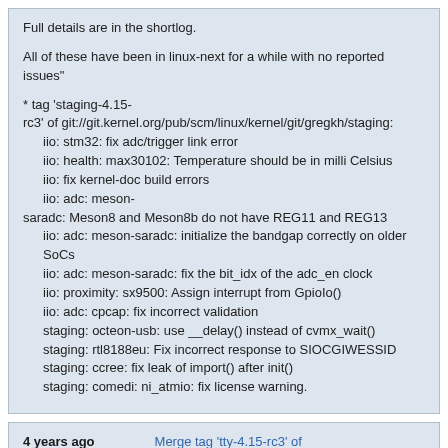Full details are in the shortlog.
All of these have been in linux-next for a while with no reported issues"
* tag 'staging-4.15-rc3' of git://git.kernel.org/pub/scm/linux/kernel/git/gregkh/staging:
  iio: stm32: fix adc/trigger link error
  iio: health: max30102: Temperature should be in milli Celsius
  iio: fix kernel-doc build errors
  iio: adc: meson-saradc: Meson8 and Meson8b do not have REG11 and REG13
  iio: adc: meson-saradc: initialize the bandgap correctly on older SoCs
  iio: adc: meson-saradc: fix the bit_idx of the adc_en clock
  iio: proximity: sx9500: Assign interrupt from GpioIo()
  iio: adc: cpcap: fix incorrect validation
  staging: octeon-usb: use __delay() instead of cvmx_wait()
  staging: rtl8188eu: Fix incorrect response to SIOCGIWESSID
  staging: ccree: fix leak of import() after init()
  staging: comedi: ni_atmio: fix license warning.
4 years ago   Merge tag 'tty-4.15-rc3' of git://git.kernel.org/pub/scm/linux/kernel/git/gregkh/tty